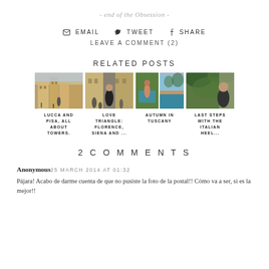- end of the Obsession -
EMAIL   TWEET   SHARE
LEAVE A COMMENT (2)
RELATED POSTS
[Figure (photo): Five travel blog related post thumbnails: Lucca and Pisa buildings, Love Triangle Florence street, Autumn in Tuscany pool, and Last Steps with the Italian Heel photos]
LUCCA AND PISA, ALL ABOUT TOWERS.
LOVE TRIANGLE: FLORENCE, SIENA AND ...
AUTUMN IN TUSCANY
LAST STEPS WITH THE ITALIAN HEEL...
2 COMMENTS
Anonymous 25 MARCH 2014 AT 01:32
Pájara! Acabo de darme cuenta de que no pusiste la foto de la postal!! Cómo va a ser, si es la mejor!!